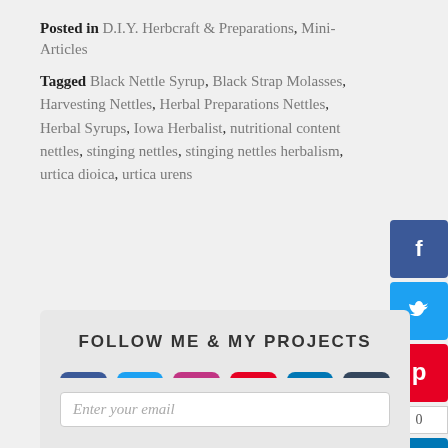Posted in D.I.Y. Herbcraft & Preparations, Mini-Articles
Tagged Black Nettle Syrup, Black Strap Molasses, Harvesting Nettles, Herbal Preparations Nettles, Herbal Syrups, Iowa Herbalist, nutritional content nettles, stinging nettles, stinging nettles herbalism, urtica dioica, urtica urens
[Figure (other): Social media sharing sidebar buttons: Facebook, Twitter, Pinterest (with 0 count), LinkedIn, Tumblr]
FOLLOW ME & MY PROJECTS
[Figure (other): Row of social media icon buttons: Facebook, Twitter, Instagram, Pinterest, LinkedIn, Tumblr]
Enter your email